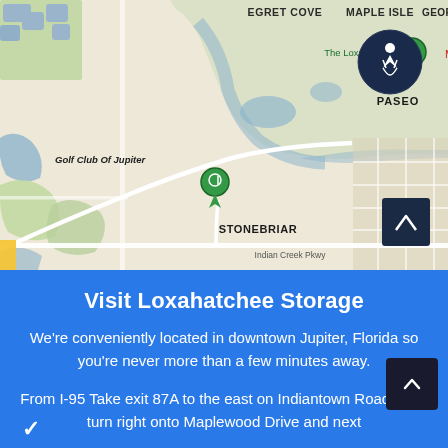[Figure (map): Google Maps screenshot showing Jupiter, Florida area with neighborhoods labeled: Egret Cove, Maple Isle, The Loxahatchee Club (green pin), Golf Club Of Jupiter, Indian Creek (green pin), Stonebriar, Hamptons, Paseo, Maplec[rest cut off]. Map shows roads and water/golf course areas. Accessibility icon in top right. Indian Creek Pkwy labeled near bottom.]
Visit Loxahatchee Storage
We're conveniently located in downtown Jupiter, Florida so you're never more than a few minutes away.
From I-95 Take exit 87A to the east on Indiantown Road, then turn right onto Maplewood Drive and next